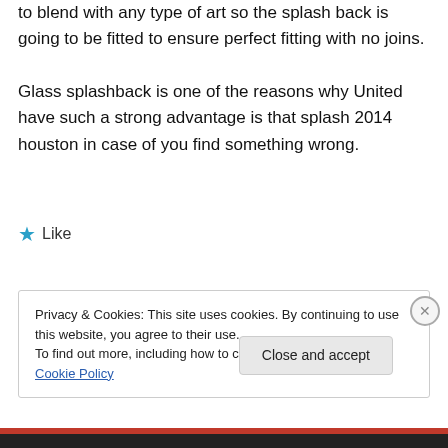to blend with any type of art so the splash back is going to be fitted to ensure perfect fitting with no joins. Glass splashback is one of the reasons why United have such a strong advantage is that splash 2014 houston in case of you find something wrong.
★ Like
Privacy & Cookies: This site uses cookies. By continuing to use this website, you agree to their use. To find out more, including how to control cookies, see here: Cookie Policy
Close and accept